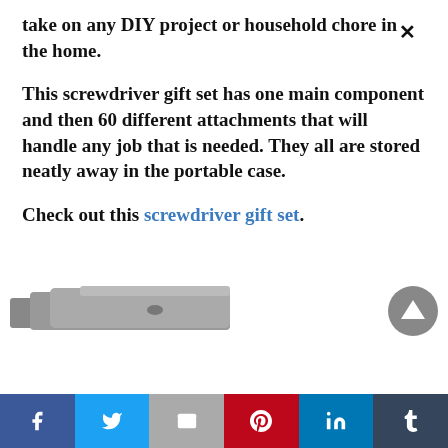take on any DIY project or household chore in the home.
This screwdriver gift set has one main component and then 60 different attachments that will handle any job that is needed. They all are stored neatly away in the portable case.
Check out this screwdriver gift set.
[Figure (photo): Partial view of a screwdriver gift set product at the bottom of the page]
Social share bar with Facebook, Twitter, Mail, Pinterest, LinkedIn, Tumblr buttons